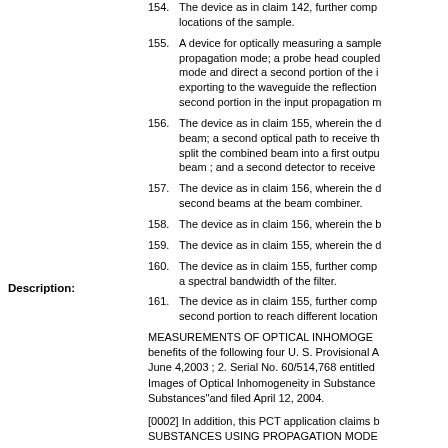154. The device as in claim 142, further comprising scanning the radiation to different locations of the sample.
155. A device for optically measuring a sample comprising: a waveguide supporting an input propagation mode; a probe head coupled to the waveguide to receive a first portion of the input mode and direct a second portion of the input mode toward the sample, the probe head exporting to the waveguide the reflection from the sample in a mode different from the second portion in the input propagation mode.
156. The device as in claim 155, wherein the device further comprises: a combiner to combine beam; a second optical path to receive the reflection from the sample at the combiner to split the combined beam into a first output beam and a second output beam ; and a second detector to receive.
157. The device as in claim 156, wherein the device is configured to control the relative phases of the second beams at the beam combiner.
158. The device as in claim 156, wherein the b
159. The device as in claim 155, wherein the d
160. The device as in claim 155, further comprising a spectral bandwidth of the filter.
161. The device as in claim 155, further comprising second portion to reach different locations.
Description:
MEASUREMENTS OF OPTICAL INHOMOGENEITY benefits of the following four U. S. Provisional A June 4,2003 ; 2. Serial No. 60/514,768 entitled Images of Optical Inhomogeneity in Substances Substances"and filed April 12, 2004.
[0002] In addition, this PCT application claims b SUBSTANCES USING PROPAGATION MODE
[0003] The entire disclosures of the above-refe